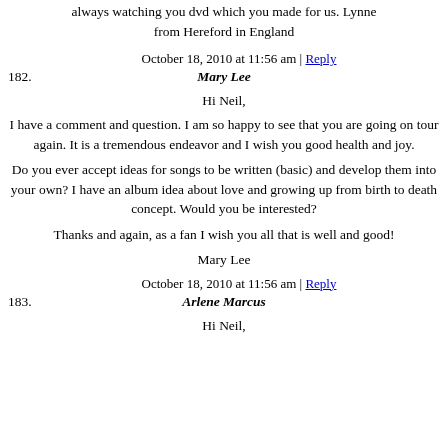always watching you dvd which you made for us. Lynne from Hereford in England
October 18, 2010 at 11:56 am | Reply
182. Mary Lee
Hi Neil,
I have a comment and question. I am so happy to see that you are going on tour again. It is a tremendous endeavor and I wish you good health and joy.
Do you ever accept ideas for songs to be written (basic) and develop them into your own? I have an album idea about love and growing up from birth to death concept. Would you be interested?
Thanks and again, as a fan I wish you all that is well and good!
Mary Lee
October 18, 2010 at 11:56 am | Reply
183. Arlene Marcus
Hi Neil,